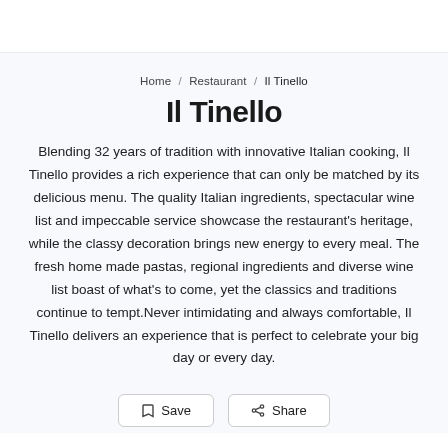Home / Restaurant / Il Tinello
Il Tinello
Blending 32 years of tradition with innovative Italian cooking, Il Tinello provides a rich experience that can only be matched by its delicious menu. The quality Italian ingredients, spectacular wine list and impeccable service showcase the restaurant's heritage, while the classy decoration brings new energy to every meal. The fresh home made pastas, regional ingredients and diverse wine list boast of what's to come, yet the classics and traditions continue to tempt.Never intimidating and always comfortable, Il Tinello delivers an experience that is perfect to celebrate your big day or every day.
Save   Share